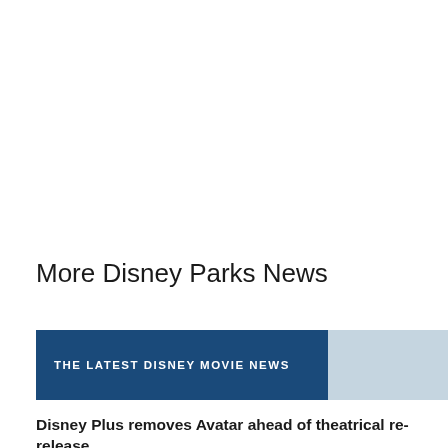More Disney Parks News
[Figure (other): Banner with two-tone background: dark blue left section with text 'THE LATEST DISNEY MOVIE NEWS' and light gray-blue right section]
Disney Plus removes Avatar ahead of theatrical re-release